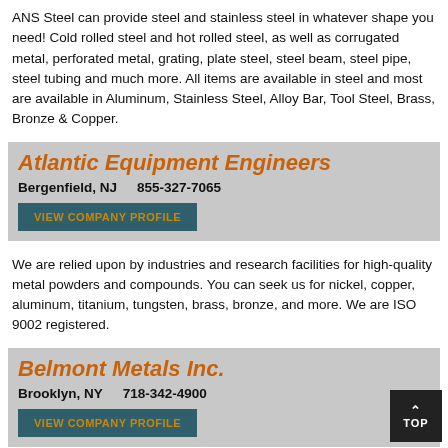ANS Steel can provide steel and stainless steel in whatever shape you need! Cold rolled steel and hot rolled steel, as well as corrugated metal, perforated metal, grating, plate steel, steel beam, steel pipe, steel tubing and much more. All items are available in steel and most are available in Aluminum, Stainless Steel, Alloy Bar, Tool Steel, Brass, Bronze & Copper.
Atlantic Equipment Engineers
Bergenfield, NJ    855-327-7065
VIEW COMPANY PROFILE
We are relied upon by industries and research facilities for high-quality metal powders and compounds. You can seek us for nickel, copper, aluminum, titanium, tungsten, brass, bronze, and more. We are ISO 9002 registered.
Belmont Metals Inc.
Brooklyn, NY    718-342-4900
VIEW COMPANY PROFILE